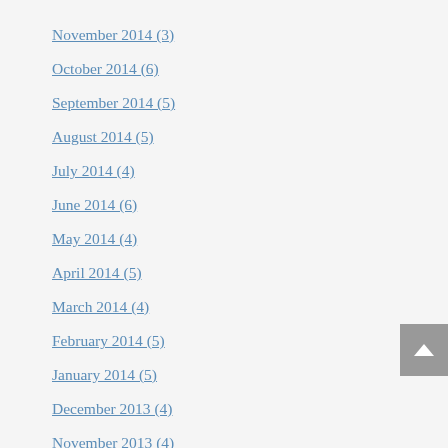November 2014 (3)
October 2014 (6)
September 2014 (5)
August 2014 (5)
July 2014 (4)
June 2014 (6)
May 2014 (4)
April 2014 (5)
March 2014 (4)
February 2014 (5)
January 2014 (5)
December 2013 (4)
November 2013 (4)